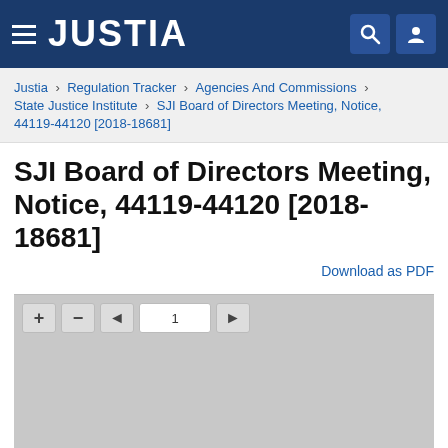JUSTIA
Justia › Regulation Tracker › Agencies And Commissions › State Justice Institute › SJI Board of Directors Meeting, Notice, 44119-44120 [2018-18681]
SJI Board of Directors Meeting, Notice, 44119-44120 [2018-18681]
Download as PDF
[Figure (screenshot): PDF viewer toolbar with zoom in (+), zoom out (−), previous page (◄), page number input showing 1, and next page (►) buttons on a grey background.]